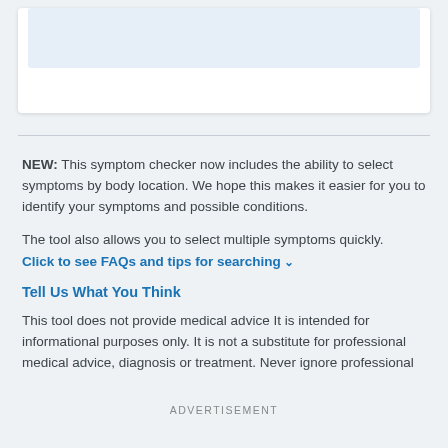[Figure (other): White card with light blue inner box placeholder content area at top of page]
NEW: This symptom checker now includes the ability to select symptoms by body location. We hope this makes it easier for you to identify your symptoms and possible conditions.
The tool also allows you to select multiple symptoms quickly.
Click to see FAQs and tips for searching
Tell Us What You Think
This tool does not provide medical advice It is intended for informational purposes only. It is not a substitute for professional medical advice, diagnosis or treatment. Never ignore professional
ADVERTISEMENT